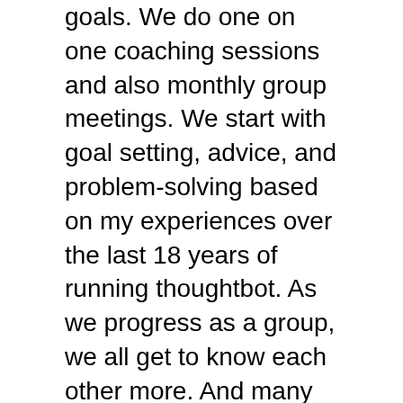goals. We do one on one coaching sessions and also monthly group meetings. We start with goal setting, advice, and problem-solving based on my experiences over the last 18 years of running thoughtbot. As we progress as a group, we all get to know each other more. And many of the AgencyU members are now working on client projects together and even referring work to each other. Whether you're struggling to grow an agency, taking it to the next level and having growing pains, or a solo founder who just needs someone to talk to, in my 18 years of leading and growing thoughtbot, I've seen and learned from a lot of different situations, and I'd be happy to work with you. Learn more and sign up today at thoughtbot.com/agencyu. That's A-G-E-N-C-Y, the letter U.
So we have a bunch of positions open in Lift Off. But product management is one of those positions that we're looking for people, right?